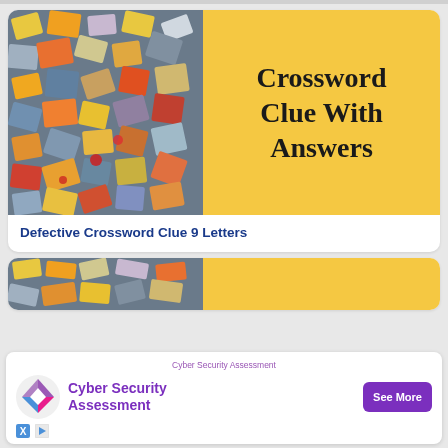[Figure (photo): Scattered colorful jigsaw puzzle pieces photo used as article thumbnail]
Crossword Clue With Answers
Defective Crossword Clue 9 Letters
[Figure (photo): Partial second article card showing puzzle pieces thumbnail]
[Figure (infographic): Cyber Security Assessment advertisement with purple logo, text, and See More button]